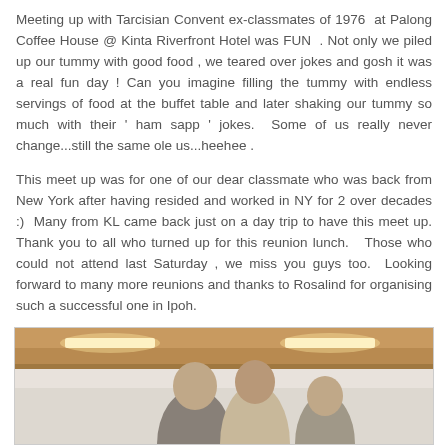Meeting up with Tarcisian Convent ex-classmates of 1976 at Palong Coffee House @ Kinta Riverfront Hotel was FUN . Not only we piled up our tummy with good food , we teared over jokes and gosh it was a real fun day ! Can you imagine filling the tummy with endless servings of food at the buffet table and later shaking our tummy so much with their ' ham sapp ' jokes.  Some of us really never change...still the same ole us...heehee .
This meet up was for one of our dear classmate who was back from New York after having resided and worked in NY for 2 over decades :)  Many from KL came back just on a day trip to have this meet up. Thank you to all who turned up for this reunion lunch.   Those who could not attend last Saturday , we miss you guys too.  Looking forward to many more reunions and thanks to Rosalind for organising such a successful one in Ipoh.
[Figure (photo): Photograph taken inside a restaurant or hotel banquet hall with warm ceiling lighting. Shows people seated or standing, partial view of interior with recessed ceiling lights and warm-toned decor.]